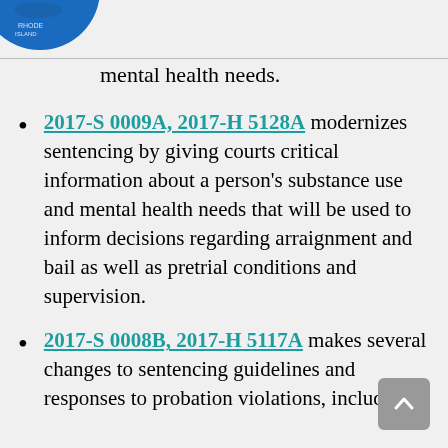[Figure (logo): Partial blue circular logo/seal in top-left corner]
mental health needs.
2017-S 0009A, 2017-H 5128A modernizes sentencing by giving courts critical information about a person's substance use and mental health needs that will be used to inform decisions regarding arraignment and bail as well as pretrial conditions and supervision.
2017-S 0008B, 2017-H 5117A makes several changes to sentencing guidelines and responses to probation violations, including